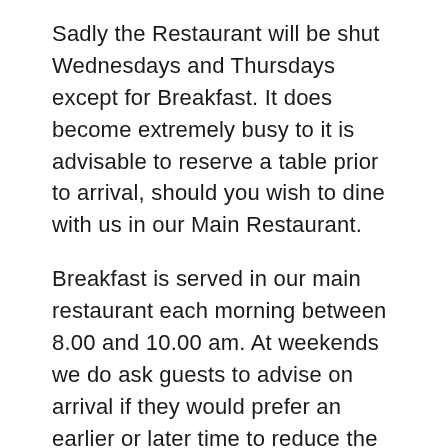Sadly the Restaurant will be shut Wednesdays and Thursdays except for Breakfast. It does become extremely busy to it is advisable to reserve a table prior to arrival, should you wish to dine with us in our Main Restaurant.
Breakfast is served in our main restaurant each morning between 8.00 and 10.00 am. At weekends we do ask guests to advise on arrival if they would prefer an earlier or later time to reduce the number of guests entering the restaurant simultaneously. A continental breakfast menu is available for room service if required. Please leave your order and preferred breakfast time with